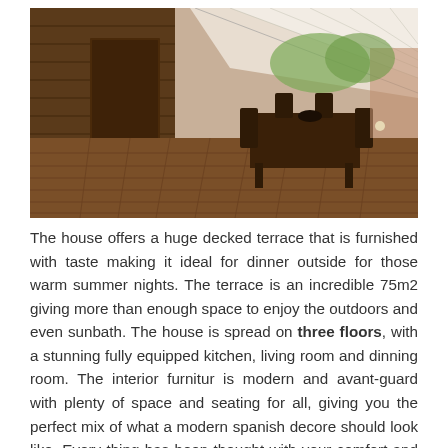[Figure (photo): Outdoor covered terrace with wooden decking and wooden plank walls on the left. A dining table with chairs is visible in the center. A translucent roof lets in light. The terrace opens to a view of trees and sky.]
The house offers a huge decked terrace that is furnished with taste making it ideal for dinner outside for those warm summer nights. The terrace is an incredible 75m2 giving more than enough space to enjoy the outdoors and even sunbath. The house is spread on three floors, with a stunning fully equipped kitchen, living room and dinning room. The interior furnitur is modern and avant-guard with plenty of space and seating for all, giving you the perfect mix of what a modern spanish decore should look like. Every thing has been thought with your comfort and enjoyment in mind. Every room is filled with light the high ceilings gives